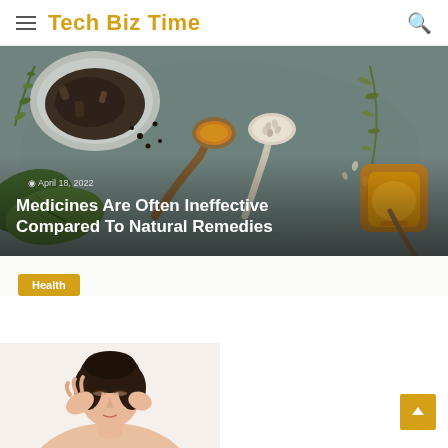Tech Biz Time
[Figure (photo): Flat lay of herbs, spices on wooden spoons and bowls on a gray stone surface — natural remedies scene]
April 18, 2022
Medicines Are Often Ineffective Compared To Natural Remedies
Health
[Figure (photo): Woman with eyes closed touching her face, appearing relaxed or doing facial massage]